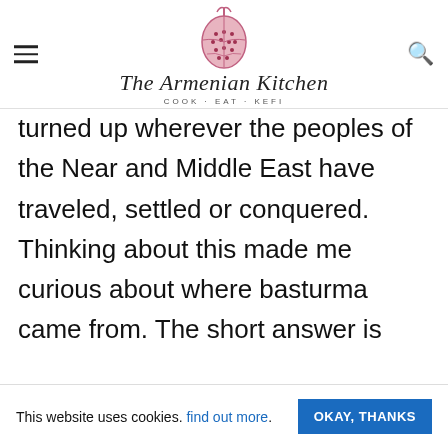The Armenian Kitchen — COOK · EAT · KEFI
turned up wherever the peoples of the Near and Middle East have traveled, settled or conquered. Thinking about this made me curious about where basturma came from. The short answer is that, like just about everything else on a Near Eastern table, you could wrestle up a powerful appetite while arguing about
This website uses cookies. find out more. OKAY, THANKS